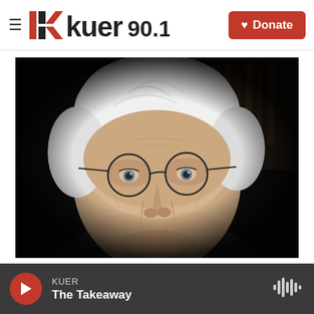KUER 90.1 — Donate
[Figure (photo): Close-up portrait of an elderly person with short white hair and round wire-rimmed glasses, against a dark background]
KUER
The Takeaway